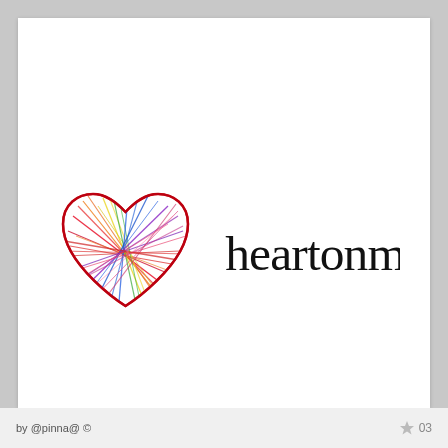[Figure (logo): Colorful scribble/crayon-style heart shape filled with multicolor lines (red, orange, yellow, green, blue, purple) next to the handwritten cursive text 'heartonmy' in black. This appears to be a brand logo.]
by @pinna@ ©     03